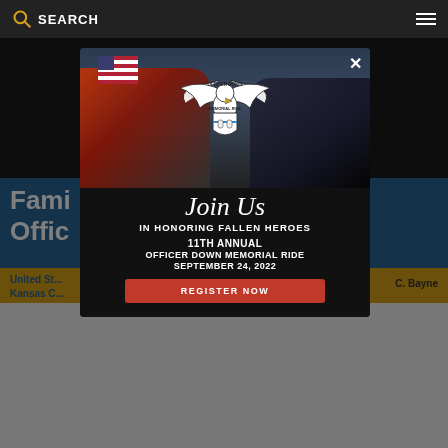SEARCH
Fami... Offic...
United Sta... Kansas C... C. Bayne
[Figure (screenshot): Modal popup overlay on a website showing the Officer Down Memorial Ride logo (eagle with wings spread, holding a shield with thin blue line), text 'Join Us IN HONORING FALLEN HEROES', '11TH ANNUAL OFFICER DOWN MEMORIAL RIDE SEPTEMBER 24, 2022', and a red REGISTER NOW button. Background shows motorcycles and an American flag.]